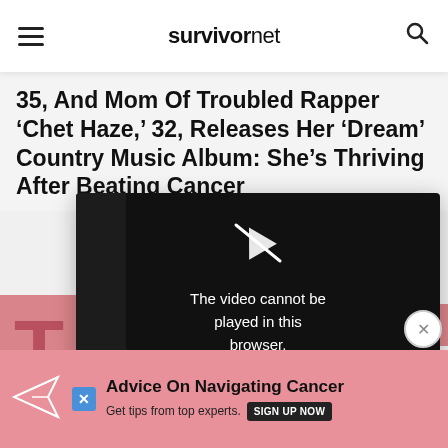survivornet
35, And Mom Of Troubled Rapper 'Chet Haze,' 32, Releases Her 'Dream' Country Music Album: She's Thriving After Beating Cancer
[Figure (screenshot): Video player popup showing error: 'The video cannot be played in this browser. (Error Code: 242632)' with a WATCH NOW button and Close option]
Sign up for
[Figure (infographic): Bottom ad banner with paper airplane icon: 'Advice On Navigating Cancer - Get tips from top experts. SIGN UP NOW']